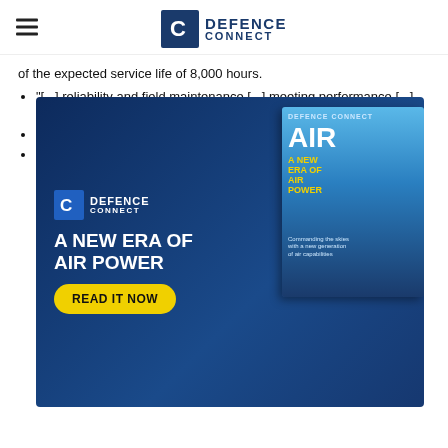DEFENCE CONNECT
of the expected service life of 8,000 hours.
"[...] reliability and field maintenance [...] meeting performance [...] power and [...] readiness levels..."
Concerns [...] of weapons [...] ing command [...] ate-based...
Underperformance [...] when the F-35 was used in air-to-ground attack roles.
[Figure (infographic): Defence Connect advertisement overlay: 'A NEW ERA OF AIR POWER' with READ IT NOW button and magazine cover showing AIR title]
In response to these concerns, original equipment manufacturer Lockheed Martin has responded to reassure operators of the F-35 and to correct the record yet again.
[Figure (infographic): ECA Group advertisement with logo and underwater drone/torpedo photo]
A Lockheed [...] "The F-35s operating today are delivering exceptional capability,